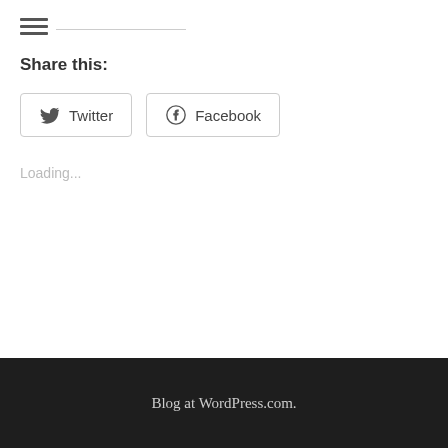Share this:
Twitter  Facebook
Loading...
Blog at WordPress.com.